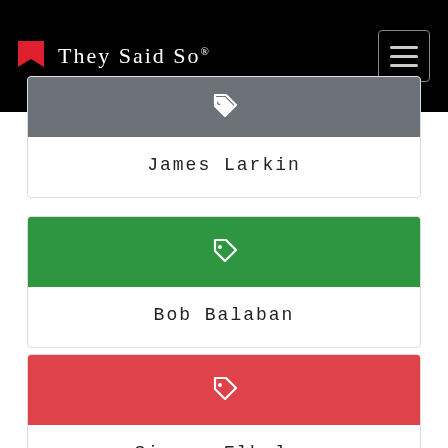They Said So®
James Larkin
Bob Balaban
Simone Elkeles